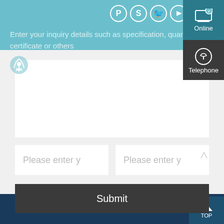[Figure (screenshot): Website header with teal background bar and social media icons (Pinterest, Skype, Twitter, YouTube, Google+)]
[Figure (logo): Anchor and Chain company logo with ship/anchor icon and text ANCHOR & CHAIN]
Enter your inquiry details such as specification, quantity, certificate or others
[Figure (screenshot): Online chat button with phone/chat icon]
[Figure (screenshot): Telephone button with ear/phone icon]
Please enter y
Please enter y
Submit
TOP